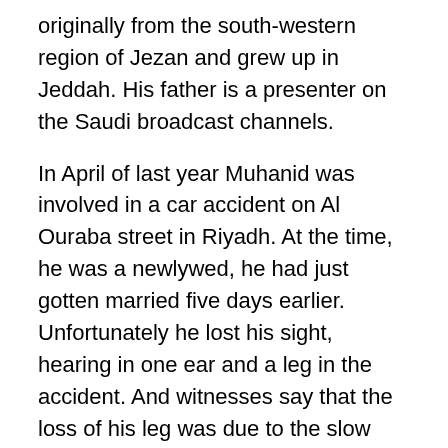originally from the south-western region of Jezan and grew up in Jeddah. His father is a presenter on the Saudi broadcast channels.
In April of last year Muhanid was involved in a car accident on Al Ouraba street in Riyadh. At the time, he was a newlywed, he had just gotten married five days earlier. Unfortunately he lost his sight, hearing in one ear and a leg in the accident. And witnesses say that the loss of his leg was due to the slow response of the paramedics and later bureaucratic procedures at the hospital he was taken to.
As he was recovering, his wife would sit next to his hospital bed crying and he turned to her and told her that everything was going to be alright. Psychologists that saw him after his accident remarked that they rarely come